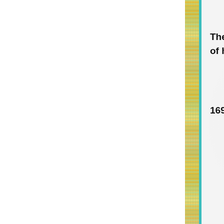The elaborately named of her Furry Folk and F wife
169    Mrs. C. St. Au Fa
[Figure (illustration): Cartoon pink/red cat-like creature with large ears, blue eyes, sitting upright]
THE TEN C